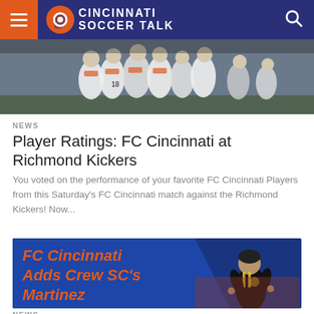Cincinnati Soccer Talk
[Figure (photo): Soccer players in white and orange uniforms huddled together on a field]
NEWS
Player Ratings: FC Cincinnati at Richmond Kickers
You voted on the performance of your favorite FC Cincinnati Players from this Saturday's FC Cincinnati match against the Richmond Kickers! Now...
[Figure (photo): FC Cincinnati Adds Crew SC's Martinez - Blue graphic with orange bold italic text and a soccer player in black Crew SC kit running]
NEWS